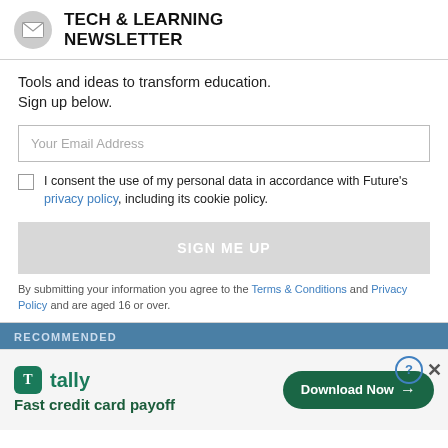TECH & LEARNING NEWSLETTER
Tools and ideas to transform education. Sign up below.
Your Email Address
I consent the use of my personal data in accordance with Future's privacy policy, including its cookie policy.
SIGN ME UP
By submitting your information you agree to the Terms & Conditions and Privacy Policy and are aged 16 or over.
RECOMMENDED
[Figure (infographic): Tally app advertisement banner: Tally logo with green icon, tagline 'Fast credit card payoff', and a 'Download Now' button with arrow.]